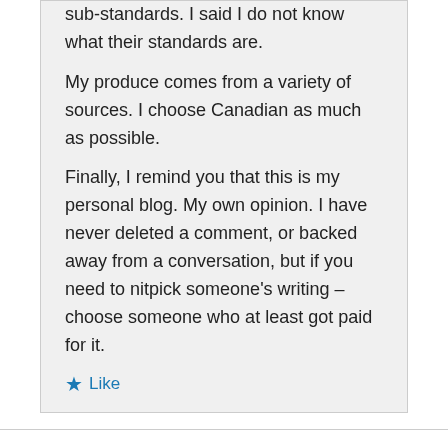sub-standards. I said I do not know what their standards are.
My produce comes from a variety of sources. I choose Canadian as much as possible.
Finally, I remind you that this is my personal blog. My own opinion. I have never deleted a comment, or backed away from a conversation, but if you need to nitpick someone's writing – choose someone who at least got paid for it.
Like
Terry Baker on March 9, 2016 at 4:01 pm